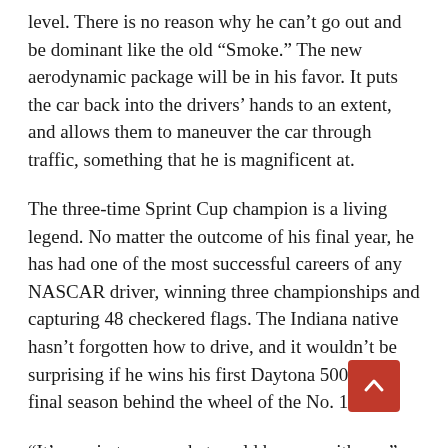level. There is no reason why he can't go out and be dominant like the old "Smoke." The new aerodynamic package will be in his favor. It puts the car back into the drivers' hands to an extent, and allows them to maneuver the car through traffic, something that he is magnificent at.
The three-time Sprint Cup champion is a living legend. No matter the outcome of his final year, he has had one of the most successful careers of any NASCAR driver, winning three championships and capturing 48 checkered flags. The Indiana native hasn't forgotten how to drive, and it wouldn't be surprising if he wins his first Daytona 500 in his final season behind the wheel of the No. 14.
“It’s a coin toss on what could happen with me,” Stewart said. “It could be the same, it could be worse, it could be better. If we make it any better I think it has potential to be a lot better. I’m excited about that opportunity on our side.”
If speed is any indication on the performance of SHR in the